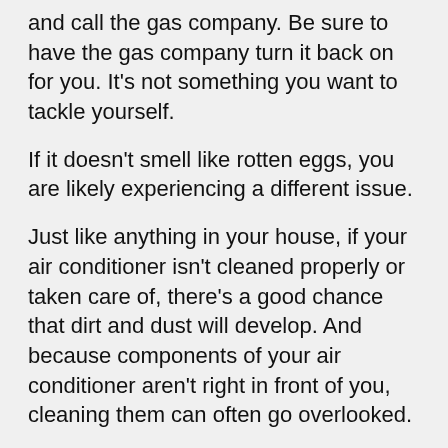and call the gas company. Be sure to have the gas company turn it back on for you. It's not something you want to tackle yourself.
If it doesn't smell like rotten eggs, you are likely experiencing a different issue.
Just like anything in your house, if your air conditioner isn't cleaned properly or taken care of, there's a good chance that dirt and dust will develop. And because components of your air conditioner aren't right in front of you, cleaning them can often go overlooked.
Buildup of mold, dirt and other particles is one of the most common sources of odors with air conditioners. It can happen with the coils, drain pain, air ducts or even your filter. However, routine maintenance can help avoid this buildup and reduce the odds that an unfriendly smell starts spreading throughout your